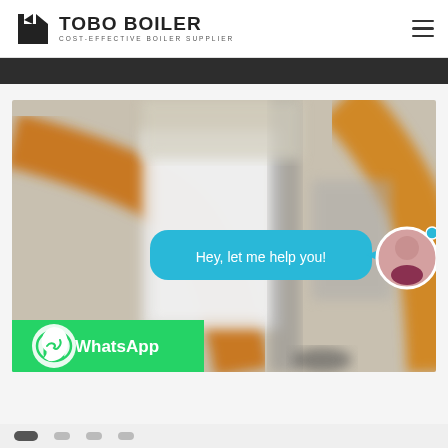[Figure (logo): TOBO BOILER logo with black geometric icon and text 'TOBO BOILER / COST-EFFECTIVE BOILER SUPPLIER']
[Figure (photo): Industrial boiler equipment photo showing orange/copper pipes and white machinery components, with a chat bubble overlay saying 'Hey, let me help you!' and a WhatsApp button, plus a female customer service avatar]
[Figure (screenshot): Bottom navigation area with partial icons/tabs visible]